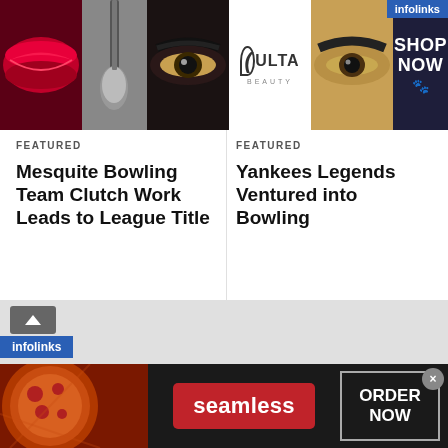[Figure (screenshot): ULTA Beauty advertisement banner with makeup imagery (lips, brush, eyes) and 'SHOP NOW' call to action with infolinks badge]
FEATURED
Mesquite Bowling Team Clutch Work Leads to League Title
FEATURED
Yankees Legends Ventured into Bowling
[Figure (screenshot): Seamless food delivery advertisement with pizza image, 'seamless' red button, and 'ORDER NOW' button with infolinks badge]